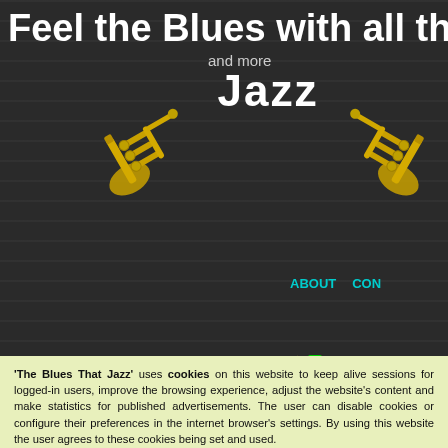Feel the Blues with all that and more Jazz
MUSIC MENU
Blues
Classical
Jazz
Latin, French, Italian
Polish Music
Pop & Miscellaneous
ABOUT  CON
Add to Favorites
Home  Classical  Stamitz Johann  Johann Stamit...
Johann Stamitz - Ma
Wednesday, 19 August 2020 14
User Rating: / 0
Poor  Best  Rate
'The Blues That Jazz' uses cookies on this website to keep alive sessions for logged-in users, improve the browsing experience, adjust the website's content and make statistics for published advertisements. The user can disable cookies or configure their preferences in the internet browser's settings. By using this website the user agrees to these cookies being set and used.
I understand and accept cookies